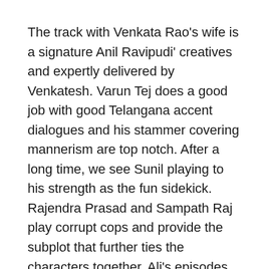The track with Venkata Rao's wife is a signature Anil Ravipudi' creatives and expertly delivered by Venkatesh. Varun Tej does a good job with good Telangana accent dialogues and his stammer covering mannerism are top notch. After a long time, we see Sunil playing to his strength as the fun sidekick. Rajendra Prasad and Sampath Raj play corrupt cops and provide the subplot that further ties the characters together. Ali's episodes generated some laughs.
Second half of the movie deals with another scam to get their hands on Anand Prasad (Murali Sharma's) money. With more laughs – some fun and some forced the movie makes its way to the climax episode. The expert use of movie parodies a treat to watch – albeit a bit too packed. May be could have cut down on a few of the parodies. Venky and Varun Tej excel with unique mannerisms. Sunil and Raghu